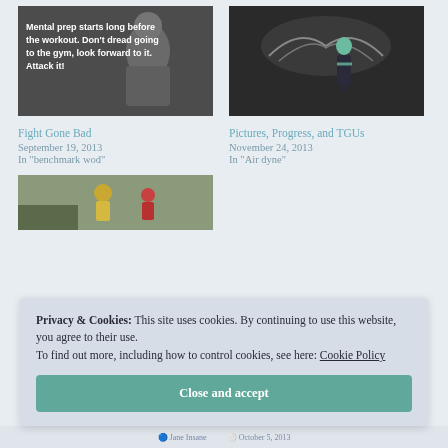[Figure (photo): Black and white photo of person with workout motivational quote overlaid in white bold text: 'Mental prep starts long before the workout. Don't dread going to the gym, look forward to it. Attack it!']
Fight Gone Bad
September 19, 2013
In "benchmark wod"
[Figure (photo): Color photo of woman in gym with wings mural on dark wall behind her, holding kettlebells]
Pictures, Progress, and TGUs
November 24, 2013
In "Air dyne"
[Figure (photo): Outdoor photo of people exercising, person in yellow and red shirts visible]
Privacy & Cookies: This site uses cookies. By continuing to use this website, you agree to their use.
To find out more, including how to control cookies, see here: Cookie Policy
Close and accept
Jane Insane   October 5, 2013